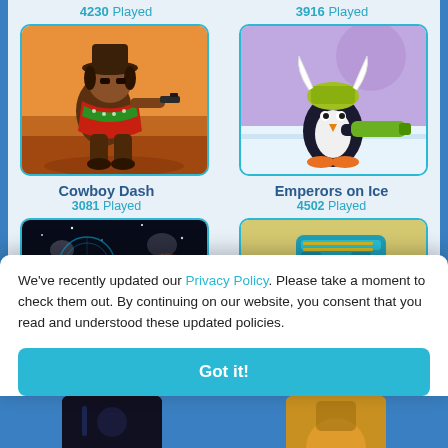4230 Played
3916 Played
[Figure (illustration): Cowboy Dash game thumbnail showing a cowboy character in poncho holding a gun on an orange desert background]
Cowboy Dash
3081 Played
[Figure (illustration): Emperors on Ice game thumbnail showing a penguin with viking helmet holding a bazooka on an icy platform with purple sky]
Emperors on Ice
4502 Played
[Figure (screenshot): Space shooter game thumbnail with dark space background, spaceship, asteroids, orange sun, and HUD elements]
[Figure (screenshot): Desert game thumbnail with yellow sky, rocky mountains, a teal flying vehicle, and a teal robot character]
We've recently updated our Privacy Policy. Please take a moment to check them out. By continuing on our website, you consent that you read and understood these updated policies.
Got it!